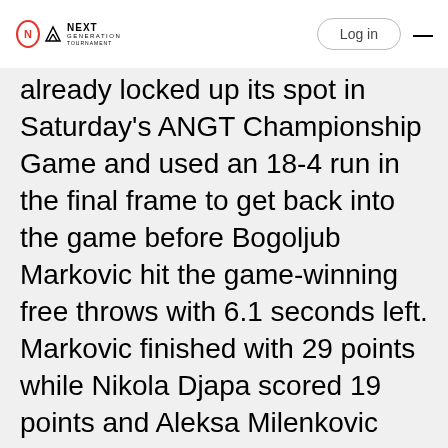NEXT GENERATION TOURNAMENT | Log in
already locked up its spot in Saturday's ANGT Championship Game and used an 18-4 run in the final frame to get back into the game before Bogoljub Markovic hit the game-winning free throws with 6.1 seconds left. Markovic finished with 29 points while Nikola Djapa scored 19 points and Aleksa Milenkovic chipped in 11 points for